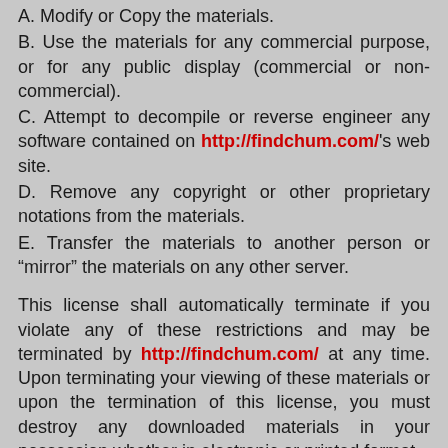A. Modify or Copy the materials.
B. Use the materials for any commercial purpose, or for any public display (commercial or non-commercial).
C. Attempt to decompile or reverse engineer any software contained on http://findchum.com/'s web site.
D. Remove any copyright or other proprietary notations from the materials.
E. Transfer the materials to another person or “mirror” the materials on any other server.
This license shall automatically terminate if you violate any of these restrictions and may be terminated by http://findchum.com/ at any time. Upon terminating your viewing of these materials or upon the termination of this license, you must destroy any downloaded materials in your possession whether in electronic or printed format.